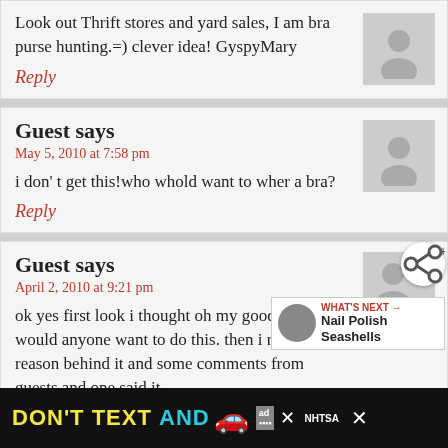Look out Thrift stores and yard sales, I am bra purse hunting.=) clever idea! GyspyMary
Reply
Guest says
May 5, 2010 at 7:58 pm
i don' t get this!who whold want to wher a bra?
Reply
Guest says
April 2, 2010 at 9:21 pm
ok yes first look i thought oh my goodness w... would anyone want to do this. then i read the reason behind it and some comments from guests and one said it
[Figure (infographic): DON'T TEXT AND DRIVE public safety advertisement banner with yellow and cyan text, car emoji, ad badge, NHTSA logo]